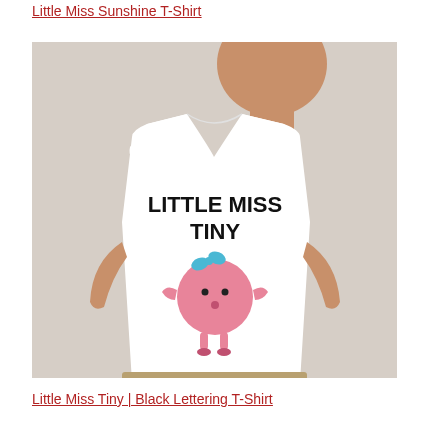Little Miss Sunshine T-Shirt
[Figure (photo): Photo of a child wearing a white T-shirt with 'LITTLE MISS TINY' text and a pink round cartoon character with a blue bow on it]
Little Miss Tiny | Black Lettering T-Shirt